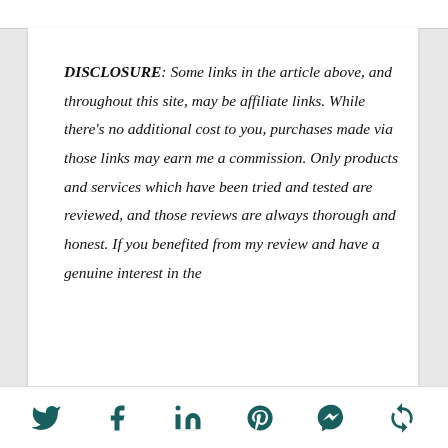DISCLOSURE: Some links in the article above, and throughout this site, may be affiliate links. While there's no additional cost to you, purchases made via those links may earn me a commission. Only products and services which have been tried and tested are reviewed, and those reviews are always thorough and honest. If you benefited from my review and have a genuine interest in the
[Figure (other): Social media sharing icons row: Twitter, Facebook, LinkedIn, Pinterest, Messenger, and a refresh/share icon — all in dark teal color]